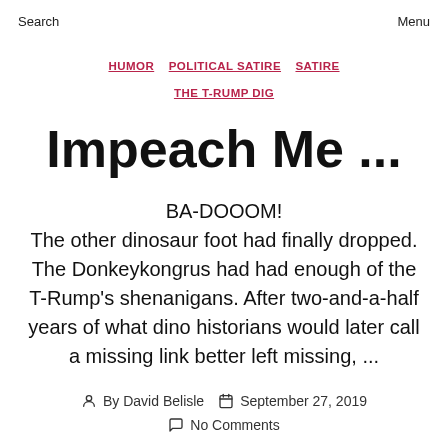Search    Menu
HUMOR   POLITICAL SATIRE   SATIRE   THE T-RUMP DIG
Impeach Me ...
BA-DOOOM!
The other dinosaur foot had finally dropped. The Donkeykongrus had had enough of the T-Rump's shenanigans. After two-and-a-half years of what dino historians would later call a missing link better left missing, ...
By David Belisle   September 27, 2019
No Comments